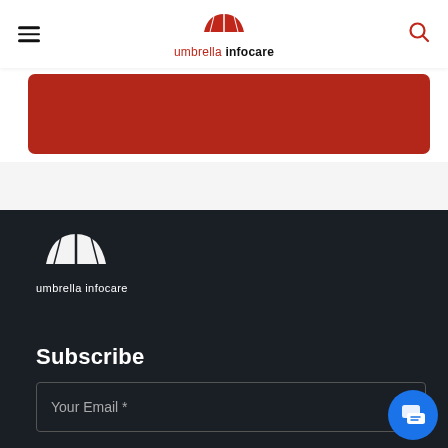umbrella infocare
[Figure (illustration): Red rounded rectangle banner]
[Figure (logo): Umbrella Infocare white logo with text 'umbrella infocare' on dark background]
Subscribe
Your Email *